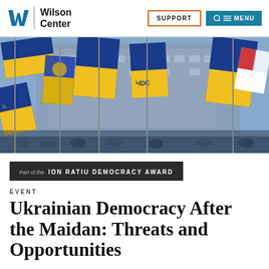Wilson Center — SUPPORT | MENU
[Figure (photo): Photograph of Ukrainian blue and yellow flags waving in a crowd with a large building in the background]
Part of the ION RATIU DEMOCRACY AWARD
EVENT
Ukrainian Democracy After the Maidan: Threats and Opportunities